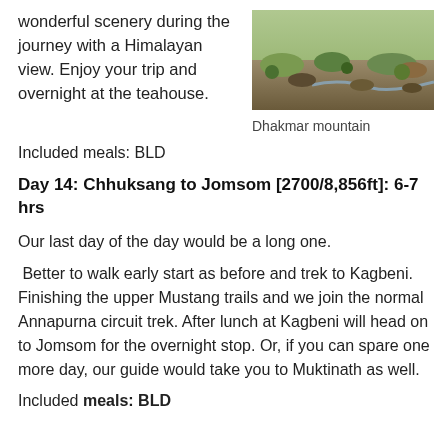wonderful scenery during the journey with a Himalayan view. Enjoy your trip and overnight at the teahouse.
[Figure (photo): Dhakmar mountain landscape photo showing rocky terrain with shrubs and a stream]
Dhakmar mountain
Included meals: BLD
Day 14: Chhuksang to Jomsom [2700/8,856ft]: 6-7 hrs
Our last day of the day would be a long one.
Better to walk early start as before and trek to Kagbeni. Finishing the upper Mustang trails and we join the normal Annapurna circuit trek. After lunch at Kagbeni will head on to Jomsom for the overnight stop. Or, if you can spare one more day, our guide would take you to Muktinath as well.
Included meals: BLD